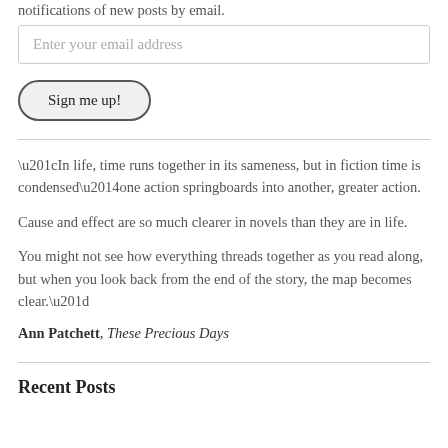notifications of new posts by email.
Enter your email address
Sign me up!
“In life, time runs together in its sameness, but in fiction time is condensed—one action springboards into another, greater action. Cause and effect are so much clearer in novels than they are in life. You might not see how everything threads together as you read along, but when you look back from the end of the story, the map becomes clear.”
Ann Patchett, These Precious Days
Recent Posts